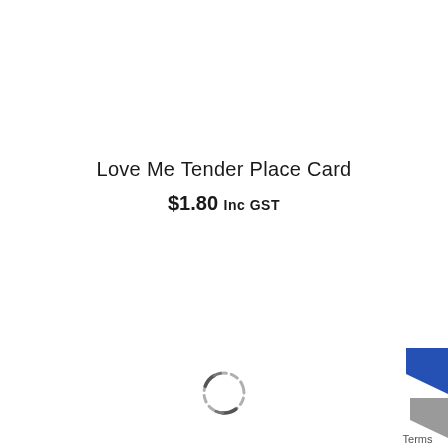Love Me Tender Place Card
$1.80 Inc GST
[Figure (other): Loading spinner icon (circular dashed ring)]
[Figure (other): Partial blue/grey arrow icon in bottom right corner]